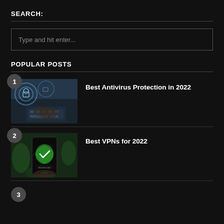SEARCH:
Type and hit enter...
POPULAR POSTS
Best Antivirus Protection in 2022
Best VPNs for 2022
3